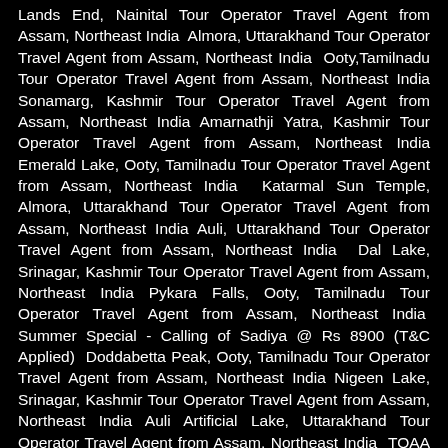Lands End, Nainital Tour Operator Travel Agent from Assam, Northeast India Almora, Uttarakhand Tour Operator Travel Agent from Assam, Northeast India Ooty,Tamilnadu Tour Operator Travel Agent from Assam, Northeast India Sonamarg, Kashmir Tour Operator Travel Agent from Assam, Northeast India Amarnathji Yatra, Kashmir Tour Operator Travel Agent from Assam, Northeast India Emerald Lake, Ooty, Tamilnadu Tour Operator Travel Agent from Assam, Northeast India Katarmal Sun Temple, Almora, Uttarakhand Tour Operator Travel Agent from Assam, Northeast India Auli, Uttarakhand Tour Operator Travel Agent from Assam, Northeast India Dal Lake, Srinagar, Kashmir Tour Operator Travel Agent from Assam, Northeast India Pykara Falls, Ooty, Tamilnadu Tour Operator Travel Agent from Assam, Northeast India Summer Special - Calling of Sadiya @ Rs 8900 (T&C Applied) Doddabetta Peak, Ooty, Tamilnadu Tour Operator Travel Agent from Assam, Northeast India Nigeen Lake, Srinagar, Kashmir Tour Operator Travel Agent from Assam, Northeast India Auli Artificial Lake, Uttarakhand Tour Operator Travel Agent from Assam, Northeast India TOAA Executive Meeting at Landmark Hotel Auli Ropeway, Uttarakhand Tour Operator